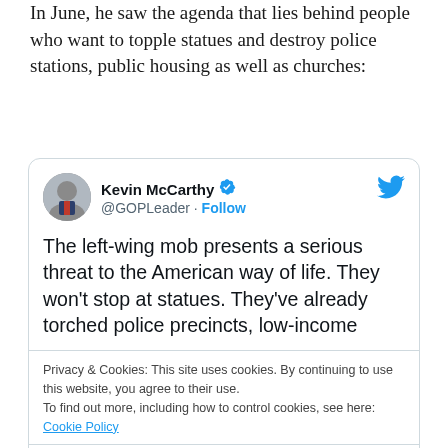In June, he saw the agenda that lies behind people who want to topple statues and destroy police stations, public housing as well as churches:
[Figure (screenshot): Embedded tweet from Kevin McCarthy (@GOPLeader) with verified badge and Follow button. Tweet text: 'The left-wing mob presents a serious threat to the American way of life. They won't stop at statues. They've already torched police precincts, low-income'. Below the tweet is a cookie consent bar: 'Privacy & Cookies: This site uses cookies. By continuing to use this website, you agree to their use. To find out more, including how to control cookies, see here: Cookie Policy'. A 'Close and accept' button appears below. Footer shows heart icon, 28.9K, Reply, Copy link.]